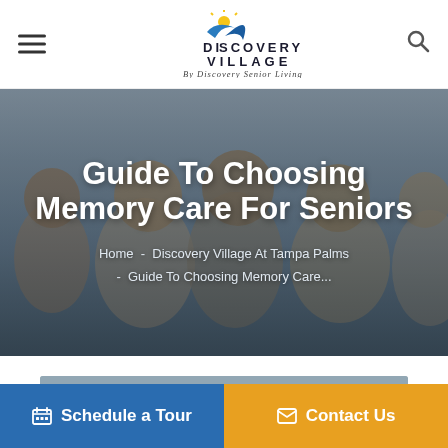[Figure (logo): Discovery Village by Discovery Senior Living logo with sun/bird icon]
Guide To Choosing Memory Care For Seniors
Home - Discovery Village At Tampa Palms - Guide To Choosing Memory Care...
[Figure (photo): Group of happy seniors laughing and embracing outdoors, used as hero background image]
Schedule a Tour
Contact Us